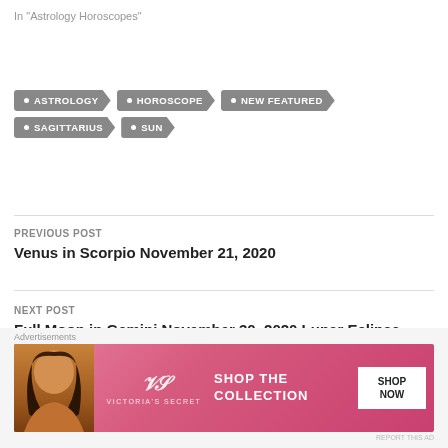In "Astrology Horoscopes"
ASTROLOGY
HOROSCOPE
NEW FEATURED
SAGITTARIUS
SUN
PREVIOUS POST
Venus in Scorpio November 21, 2020
NEXT POST
Full Moon in Gemini November 30, 2020 Lunar Eclipse
[Figure (photo): Victoria's Secret advertisement banner with model photo and 'SHOP THE COLLECTION' text and 'SHOP NOW' button]